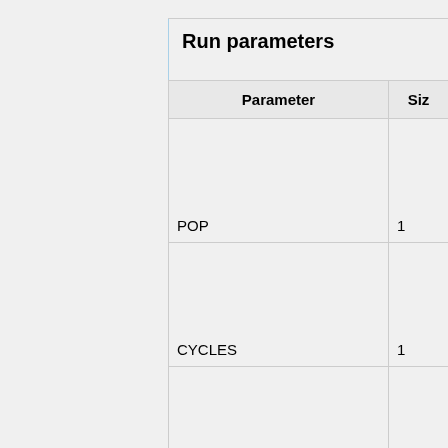Run parameters
| Parameter | Siz… |
| --- | --- |
| POP | 1 |
| CYCLES | 1 |
| SKIP | 1 |